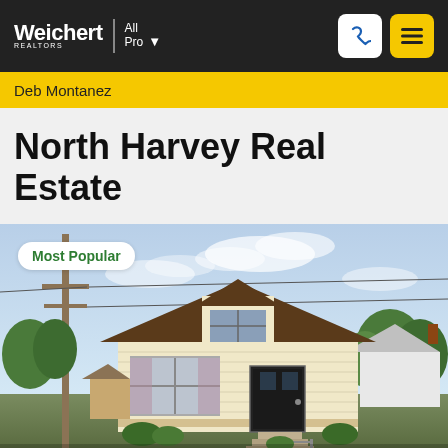Weichert Realtors All Pro — Deb Montanez
North Harvey Real Estate
[Figure (photo): Exterior photo of a single-story bungalow-style house with brown roof, white siding, front porch with steps, utility pole in foreground, trees in background, with a 'Most Popular' badge overlay]